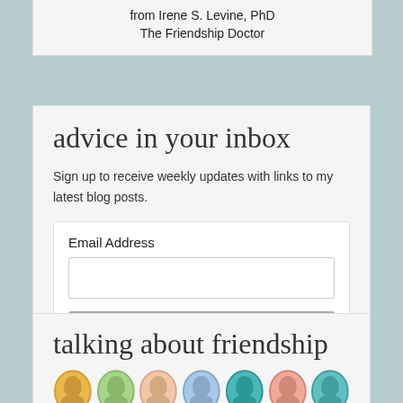from Irene S. Levine, PhD
The Friendship Doctor
advice in your inbox
Sign up to receive weekly updates with links to my latest blog posts.
talking about friendship
[Figure (illustration): Row of seven circular avatar portraits with different color tints: yellow, green, peach, light blue, teal, salmon, and teal-green]